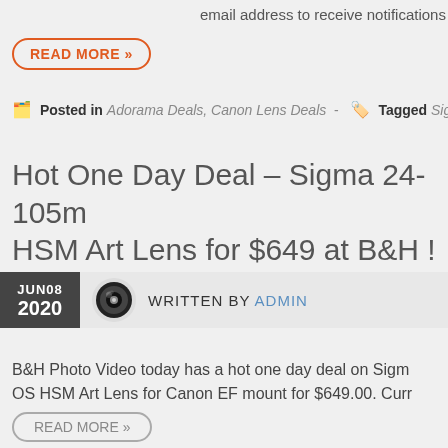email address to receive notifications of n
READ MORE »
Posted in Adorama Deals, Canon Lens Deals - Tagged Sigma 18-35
Hot One Day Deal – Sigma 24-105m HSM Art Lens for $649 at B&H !
JUN08 2020 WRITTEN BY ADMIN
B&H Photo Video today has a hot one day deal on Sigm OS HSM Art Lens for Canon EF mount for $649.00. Curr online ever. Regular US price for this lens is $899 at mos